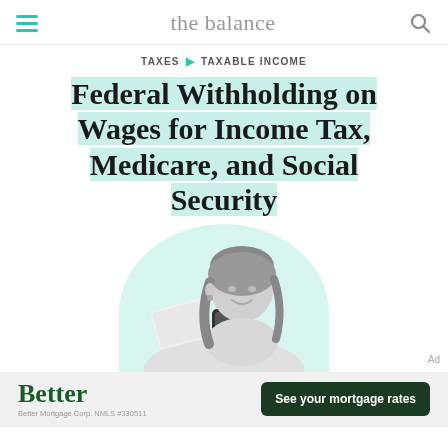the balance
TAXES ▶ TAXABLE INCOME
Federal Withholding on Wages for Income Tax, Medicare, and Social Security
[Figure (illustration): Woman smiling and looking at a phone, sitting against a large mint/teal circle background. Black and white photo style with teal circle backdrop.]
Ad
Better — Better Mortgage Corp. NMLS #330511 — See your mortgage rates